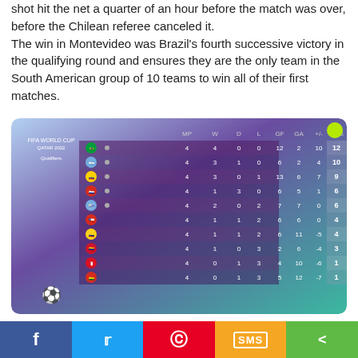shot hit the net a quarter of an hour before the match was over, before the Chilean referee canceled it.
The win in Montevideo was Brazil's fourth successive victory in the qualifying round and ensures they are the only team in the South American group of 10 teams to win all of their first matches.
[Figure (table-as-image): FIFA World Cup Qatar 2022 South American Qualifiers standings table showing 10 teams with columns MP, W, D, L, GF, GA, +/-, PTS. Brazil 4MP 4W 0D 0L 12GF 2GA +10 12PTS; Argentina 4 3 1 0 6 2 4 10; Ecuador 4 3 0 1 13 6 7 9; Paraguay 4 1 3 0 6 5 1 6; Uruguay 4 2 0 2 7 7 0 6; Chile 4 1 1 2 6 6 0 4; Colombia 4 1 1 2 6 11 -5 4; Venezuela 4 1 0 3 2 6 -4 3; Peru 4 0 1 3 4 10 -6 1; Bolivia 4 0 1 3 5 12 -7 1]
Qualifiers will resume again in March 2021.
f | twitter | pinterest | SMS | share